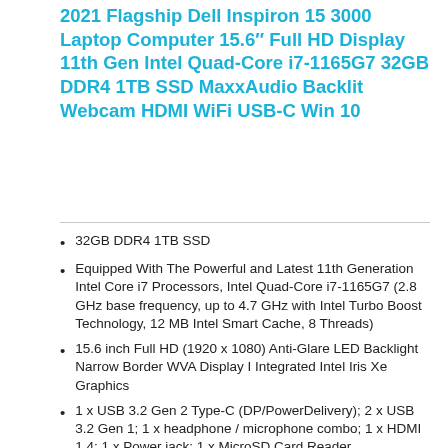2021 Flagship Dell Inspiron 15 3000 Laptop Computer 15.6″ Full HD Display 11th Gen Intel Quad-Core i7-1165G7 32GB DDR4 1TB SSD MaxxAudio Backlit Webcam HDMI WiFi USB-C Win 10
32GB DDR4 1TB SSD
Equipped With The Powerful and Latest 11th Generation Intel Core i7 Processors, Intel Quad-Core i7-1165G7 (2.8 GHz base frequency, up to 4.7 GHz with Intel Turbo Boost Technology, 12 MB Intel Smart Cache, 8 Threads)
15.6 inch Full HD (1920 x 1080) Anti-Glare LED Backlight Narrow Border WVA Display I Integrated Intel Iris Xe Graphics
1 x USB 3.2 Gen 2 Type-C (DP/PowerDelivery); 2 x USB 3.2 Gen 1; 1 x headphone / microphone combo; 1 x HDMI 1.4; 1 x Power jack; 1 x MicroSD Card Reader
Microsoft Windows 10 Home (64-bit), Backlit Keyboard, 720p at 30 fps HD camera, dual-array microphones, Stereo speakers with Waves MaxxAudio Pro, Bluetooth